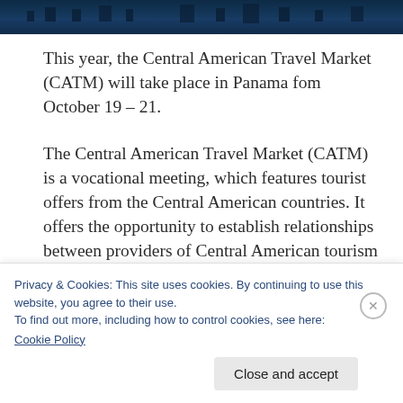[Figure (photo): Aerial or dusk cityscape image, partially visible at top of page, showing urban landscape in blue tones.]
This year, the Central American Travel Market (CATM) will take place in Panama fom October 19 – 21.
The Central American Travel Market (CATM) is a vocational meeting, which features tourist offers from the Central American countries. It offers the opportunity to establish relationships between providers of Central American tourism services and wholesalers from major international markets: Europe
Privacy & Cookies: This site uses cookies. By continuing to use this website, you agree to their use.
To find out more, including how to control cookies, see here:
Cookie Policy
Close and accept